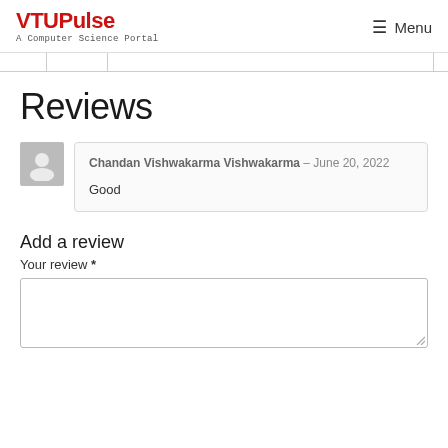VTUPulse - A Computer Science Portal | Menu
Reviews
Chandan Vishwakarma Vishwakarma – June 20, 2022
Good
Add a review
Your review *